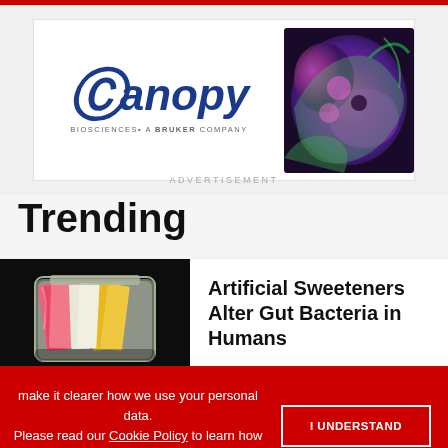[Figure (logo): Canopy Biosciences, a Bruker Company logo with microscopy image of tissue]
ADVERTISEMENT
Trending
[Figure (photo): Photo of jar containing colorful artificial sweetener packets (pink, yellow)]
Artificial Sweeteners Alter Gut Bacteria in Humans
make it clearer how we use your personal data.
Please read our Cookie Policy to learn how we use cookies to provide you
[Figure (infographic): OriGene Special Offer advertisement: Primary Antibody Samples 30 ul for $99/€99 with Learn More button]
ADVERTISEMENT